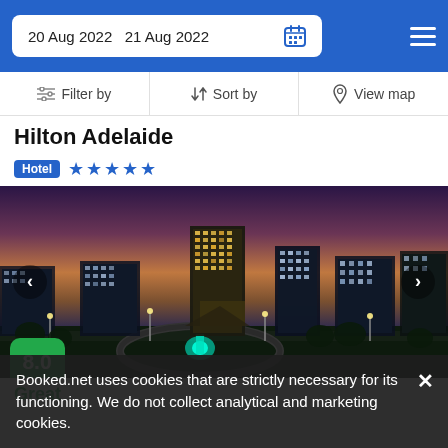20 Aug 2022  21 Aug 2022
Filter by  Sort by  View map
Hilton Adelaide
Hotel ★★★★★
[Figure (photo): Aerial night view of Hilton Adelaide city skyline with illuminated buildings and fountain at dusk]
8.0
Great
Booked.net uses cookies that are strictly necessary for its functioning. We do not collect analytical and marketing cookies.